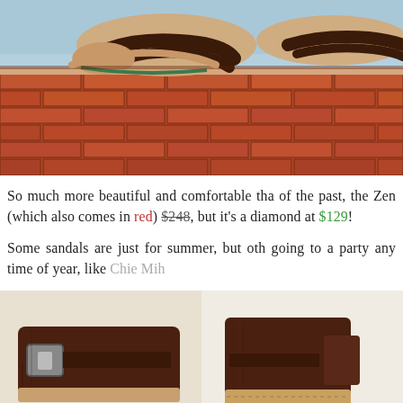[Figure (photo): Close-up photo of feet wearing dark brown sandals (Zen sandals) on a red brick wall ledge with water visible in the background]
So much more beautiful and comfortable tha of the past, the Zen (which also comes in red) $248, but it's a diamond at $129!
Some sandals are just for summer, but oth going to a party any time of year, like Chie Mih
[Figure (photo): Close-up photos of dark brown leather sandals showing buckle and strap details — two shoes side by side]